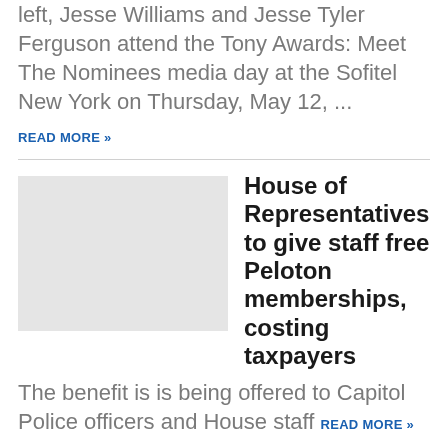left, Jesse Williams and Jesse Tyler Ferguson attend the Tony Awards: Meet The Nominees media day at the Sofitel New York on Thursday, May 12, ...
READ MORE »
House of Representatives to give staff free Peloton memberships, costing taxpayers
The benefit is is being offered to Capitol Police officers and House staff READ MORE »
Elon Musk pausing Twitter deal because of spam accounts not a 'legitimate excuse':